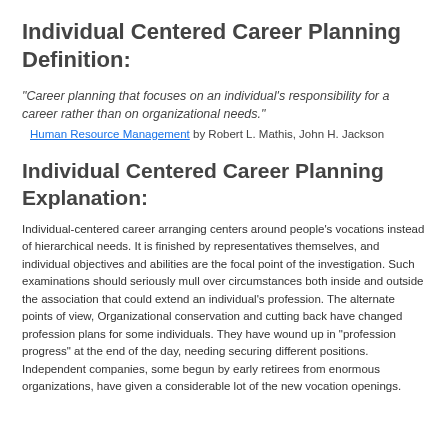Individual Centered Career Planning Definition:
“Career planning that focuses on an individual's responsibility for a career rather than on organizational needs.”
Human Resource Management by Robert L. Mathis, John H. Jackson
Individual Centered Career Planning Explanation:
Individual-centered career arranging centers around people's vocations instead of hierarchical needs. It is finished by representatives themselves, and individual objectives and abilities are the focal point of the investigation. Such examinations should seriously mull over circumstances both inside and outside the association that could extend an individual's profession. The alternate points of view, Organizational conservation and cutting back have changed profession plans for some individuals. They have wound up in "profession progress" at the end of the day, needing securing different positions. Independent companies, some begun by early retirees from enormous organizations, have given a considerable lot of the new vocation openings.